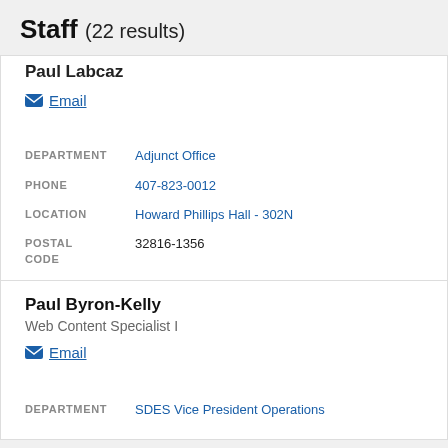Staff (22 results)
Paul Labcaz
Email
DEPARTMENT: Adjunct Office
PHONE: 407-823-0012
LOCATION: Howard Phillips Hall - 302N
POSTAL CODE: 32816-1356
Paul Byron-Kelly
Web Content Specialist I
Email
DEPARTMENT: SDES Vice President Operations